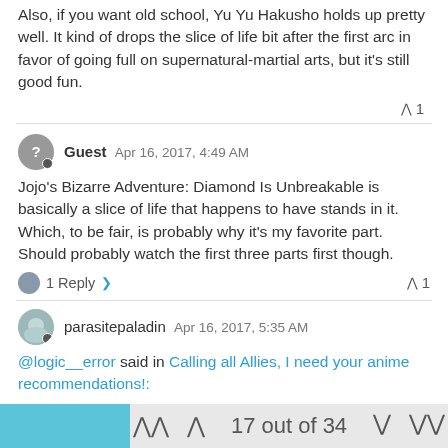Also, if you want old school, Yu Yu Hakusho holds up pretty well. It kind of drops the slice of life bit after the first arc in favor of going full on supernatural-martial arts, but it's still good fun.
▲ 1
Guest Apr 16, 2017, 4:49 AM
Jojo's Bizarre Adventure: Diamond Is Unbreakable is basically a slice of life that happens to have stands in it. Which, to be fair, is probably why it's my favorite part. Should probably watch the first three parts first though.
1 Reply > ▲ 1
parasitepaladin Apr 16, 2017, 5:35 AM
@logic__error said in Calling all Allies, I need your anime recommendations!:
I'll second the recommendation of Meloncholy of Suzumiya Haruhil One
17 out of 34